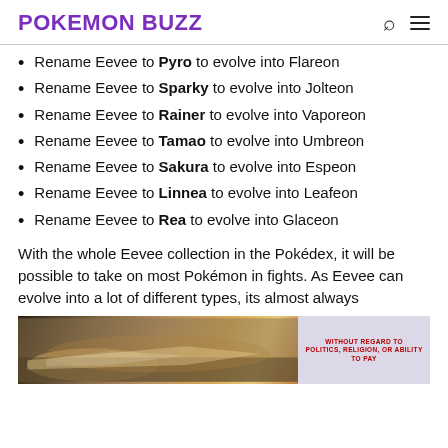POKEMON BUZZ
Rename Eevee to Pyro to evolve into Flareon
Rename Eevee to Sparky to evolve into Jolteon
Rename Eevee to Rainer to evolve into Vaporeon
Rename Eevee to Tamao to evolve into Umbreon
Rename Eevee to Sakura to evolve into Espeon
Rename Eevee to Linnea to evolve into Leafeon
Rename Eevee to Rea to evolve into Glaceon
With the whole Eevee collection in the Pokédex, it will be possible to take on most Pokémon in fights. As Eevee can evolve into a lot of different types, its almost always
[Figure (photo): Advertisement banner showing cargo airplane on tarmac with text overlay 'WITHOUT REGARD TO' in red on right side]